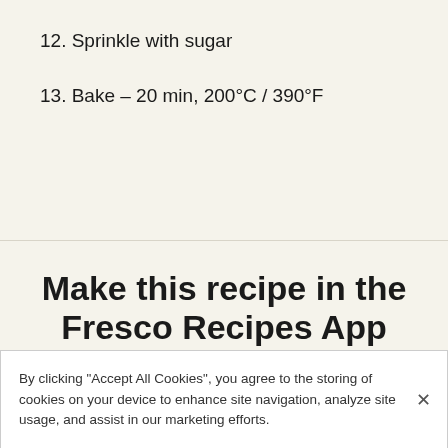12. Sprinkle with sugar
13. Bake – 20 min, 200°C / 390°F
Make this recipe in the Fresco Recipes App
Enjoy features like ingredient substitutions, smart scaling and guided step-by-step
By clicking "Accept All Cookies", you agree to the storing of cookies on your device to enhance site navigation, analyze site usage, and assist in our marketing efforts.